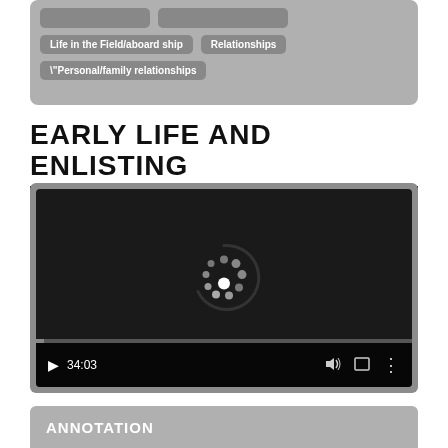[Figure (screenshot): Top panel with tags: Life in the Field/aboard ship, Relationships, "Personal/family relationships]
EARLY LIFE AND ENLISTING
[Figure (screenshot): Video player showing a loading spinner and timestamp 34:03 with playback controls]
ANNOTATION